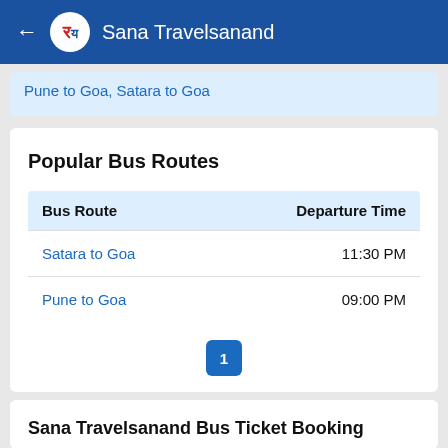Sana Travelsanand
Pune to Goa, Satara to Goa
Popular Bus Routes
| Bus Route | Departure Time |
| --- | --- |
| Satara to Goa | 11:30 PM |
| Pune to Goa | 09:00 PM |
1
Sana Travelsanand Bus Ticket Booking